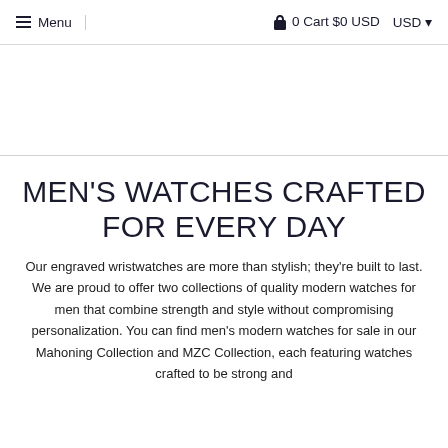≡ Menu   🔒 0 Cart $0 USD   USD ▼
MEN'S WATCHES CRAFTED FOR EVERY DAY
Our engraved wristwatches are more than stylish; they're built to last. We are proud to offer two collections of quality modern watches for men that combine strength and style without compromising personalization. You can find men's modern watches for sale in our Mahoning Collection and MZC Collection, each featuring watches crafted to be strong and